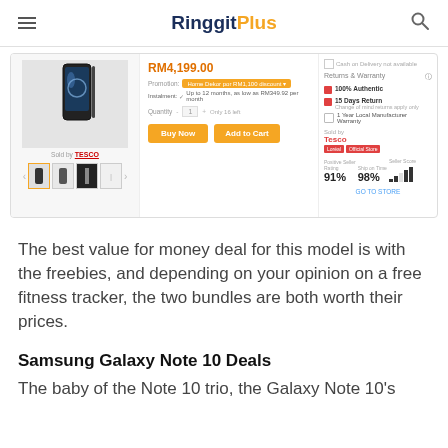RinggitPlus
[Figure (screenshot): Screenshot of a product listing on RinggitPlus for a Samsung Galaxy Note 10+ showing price RM4,199.00, sold by Tesco, Buy Now and Add to Cart buttons, warranty details (100% Authentic, 15 Days Return, 1 Year Local Manufacturer Warranty), and seller stats (91% Positive Seller Rating, 98% Ship On Time, Seller Score signal bars).]
The best value for money deal for this model is with the freebies, and depending on your opinion on a free fitness tracker, the two bundles are both worth their prices.
Samsung Galaxy Note 10 Deals
The baby of the Note 10 trio, the Galaxy Note 10's